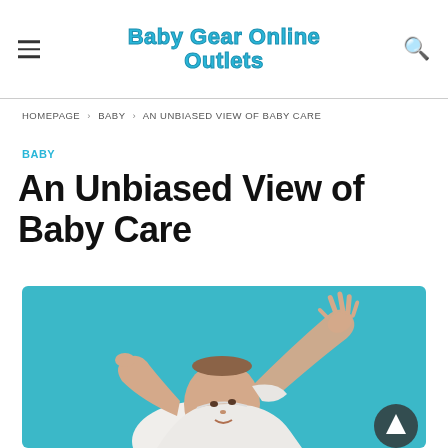Baby Gear Online Outlets
HOMEPAGE > BABY > AN UNBIASED VIEW OF BABY CARE
BABY
An Unbiased View of Baby Care
[Figure (photo): A baby in a white outfit reaching up with both arms against a teal/blue background]